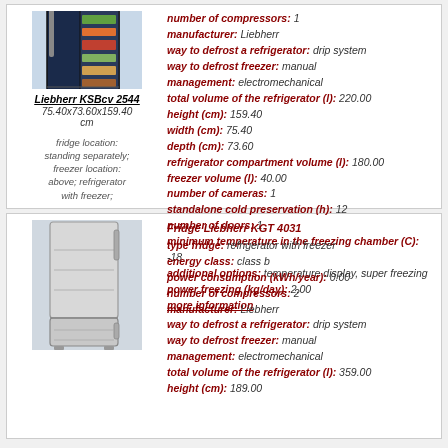[Figure (illustration): Liebherr KSBcv 2544 refrigerator with open door showing food inside, dark blue/navy exterior]
Liebherr KSBcv 2544
75.40x73.60x159.40 cm
fridge location: standing separately; freezer location: above; refrigerator with freezer;
number of compressors: 1
manufacturer: Liebherr
way to defrost a refrigerator: drip system
way to defrost freezer: manual
management: electromechanical
total volume of the refrigerator (l): 220.00
height (cm): 159.40
width (cm): 75.40
depth (cm): 73.60
refrigerator compartment volume (l): 180.00
freezer volume (l): 40.00
number of cameras: 1
standalone cold preservation (h): 12
number of doors: 1
minimum temperature in the freezing chamber (C): -18
additional options: temperature display, super freezing
power freezing (kg/day): 2.00
more information
[Figure (illustration): Liebherr KGT 4031 refrigerator, tall white unit with freezer compartment at bottom]
Fridge Liebherr KGT 4031
type fridge: refrigerator with freezer
energy class: class b
power consumption (kWh/year): 0.00
number of compressors: 2
manufacturer: Liebherr
way to defrost a refrigerator: drip system
way to defrost freezer: manual
management: electromechanical
total volume of the refrigerator (l): 359.00
height (cm): 189.00